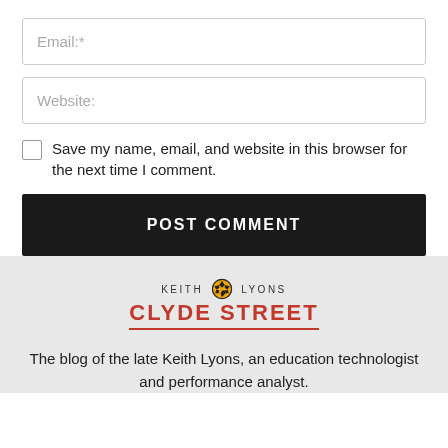Email:*
Website:
Save my name, email, and website in this browser for the next time I comment.
POST COMMENT
[Figure (logo): Keith Lyons Clyde Street blog logo with soccer ball icon]
The blog of the late Keith Lyons, an education technologist and performance analyst.